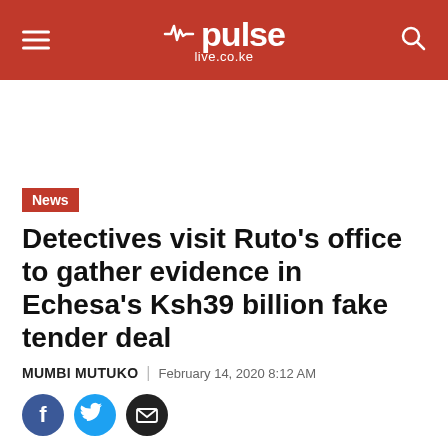pulse live.co.ke
News
Detectives visit Ruto's office to gather evidence in Echesa's Ksh39 billion fake tender deal
MUMBI MUTUKO | February 14, 2020 8:12 AM
[Figure (illustration): Social sharing icons: Facebook, Twitter, Email]
Another top CS named in the tender scam